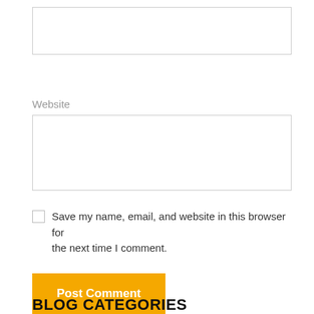[Figure (screenshot): Empty text input box at the top of the form]
Website
[Figure (screenshot): Website input field (empty text box)]
Save my name, email, and website in this browser for the next time I comment.
Post Comment
BLOG CATEGORIES